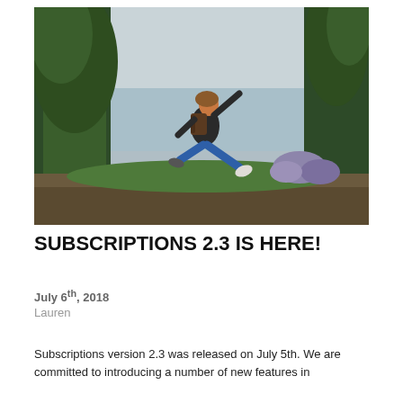[Figure (photo): Person with backpack jumping in a dynamic pose outdoors, surrounded by trees and a lake or sea in the background, with lavender bushes and a dirt path visible.]
SUBSCRIPTIONS 2.3 IS HERE!
July 6th, 2018
Lauren
Subscriptions version 2.3 was released on July 5th. We are committed to introducing a number of new features in...